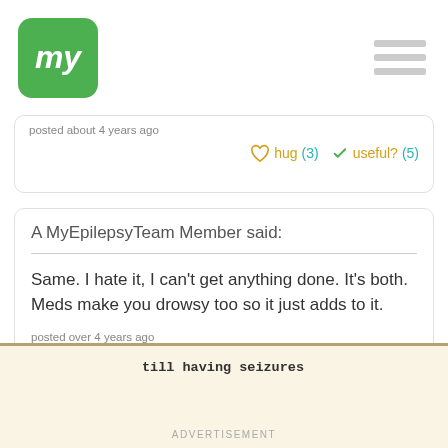my (MyEpilepsyTeam logo) — hamburger menu
posted about 4 years ago
hug (3)   useful? (5)
A MyEpilepsyTeam Member said:
Same. I hate it, I can't get anything done. It's both. Meds make you drowsy too so it just adds to it.
posted over 4 years ago
hug (4)   useful? (5)
till having seizures
ADVERTISEMENT